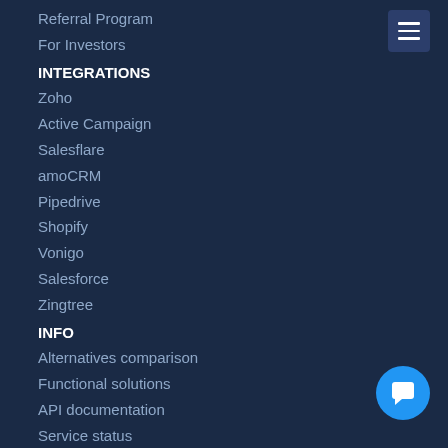Referral Program
For Investors
INTEGRATIONS
Zoho
Active Campaign
Salesflare
amoCRM
Pipedrive
Shopify
Vonigo
Salesforce
Zingtree
INFO
Alternatives comparison
Functional solutions
API documentation
Service status
Call Center Analytics Software
SPECIAL OFFERS
Startup offer
Regional solutions
City solutions